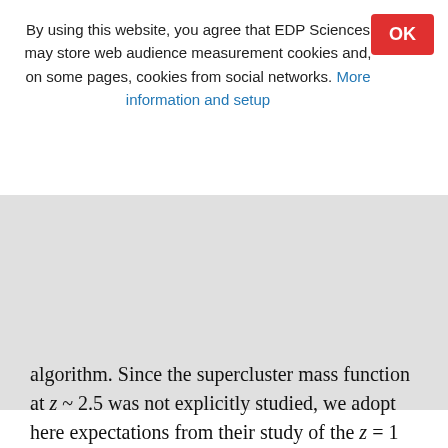By using this website, you agree that EDP Sciences may store web audience measurement cookies and, on some pages, cookies from social networks. More information and setup
algorithm. Since the supercluster mass function at z ~ 2.5 was not explicitly studied, we adopt here expectations from their study of the z = 1 supercluster mass function keeping in mind that this expectation will